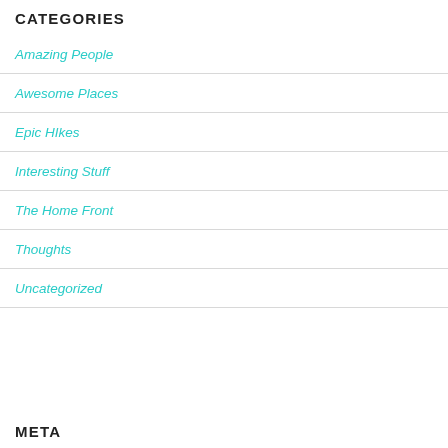CATEGORIES
Amazing People
Awesome Places
Epic HIkes
Interesting Stuff
The Home Front
Thoughts
Uncategorized
META